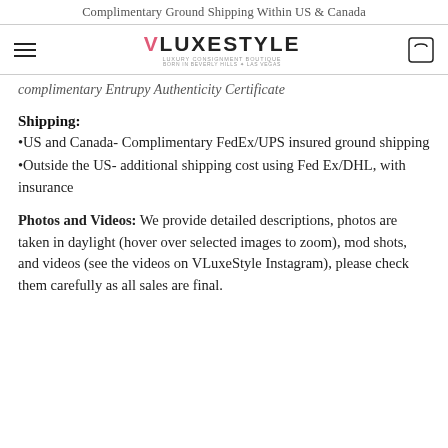Complimentary Ground Shipping Within US & Canada
[Figure (logo): VLuxeStyle luxury consignment boutique logo with hamburger menu and cart icon]
complimentary Entrupy Authenticity Certificate
Shipping:
•US and Canada- Complimentary FedEx/UPS insured ground shipping
•Outside the US- additional shipping cost using Fed Ex/DHL, with insurance
Photos and Videos: We provide detailed descriptions, photos are taken in daylight (hover over selected images to zoom), mod shots, and videos (see the videos on VLuxeStyle Instagram), please check them carefully as all sales are final.